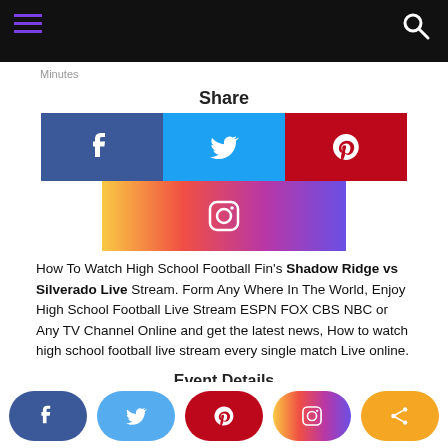Navigation bar with hamburger menu and search icon
Minutes
Share
[Figure (other): Social share buttons: Facebook (blue), Twitter (light blue), Pinterest (red), Instagram (gradient)]
How To Watch High School Football Fin's Shadow Ridge vs Silverado Live Stream. Form Any Where In The World, Enjoy High School Football Live Stream ESPN FOX CBS NBC or Any TV Channel Online and get the latest news, How to watch high school football live stream every single match Live online.
Event Details
High School Football 2021
Dates: Thursday, November 18, 2021
Bottom share bar with Facebook, Twitter, Pinterest, Instagram, Share buttons